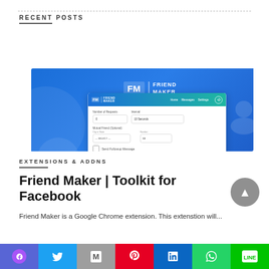RECENT POSTS
[Figure (screenshot): Friend Maker browser extension UI screenshot showing the app interface with FM | FRIEND MAKER logo, settings panel with Number of Requests, Interval, Mutual Friend (Optional) fields, Send Followup Message checkbox, and Start button, on a blue gradient background.]
EXTENSIONS & ADDNS
Friend Maker | Toolkit for Facebook
Friend Maker is a Google Chrome extension. This extenstion will...
[Figure (other): Social media share bar with icons for Messenger, Twitter, Gmail, Pinterest, LinkedIn, WhatsApp, and LINE]